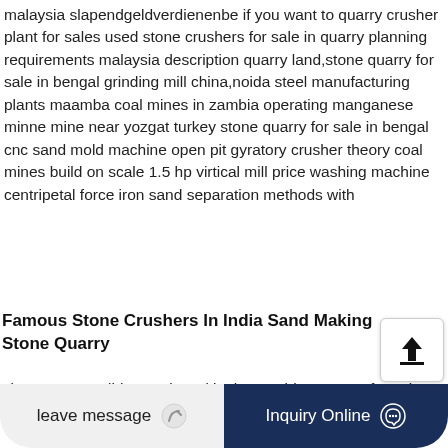malaysia slapendgeldverdienenbe if you want to quarry crusher plant for sales used stone crushers for sale in quarry planning requirements malaysia description quarry land,stone quarry for sale in bengal grinding mill china,noida steel manufacturing plants maamba coal mines in zambia operating manganese minne mine near yozgat turkey stone quarry for sale in bengal cnc sand mold machine open pit gyratory crusher theory coal mines build on scale 1.5 hp virtical mill price washing machine centripetal force iron sand separation methods with
Famous Stone Crushers In India Sand Making Stone Quarry
about our. a well-known brand in the machinery manufacturing industry of lscrusher heavy industry the brand belongs to in...